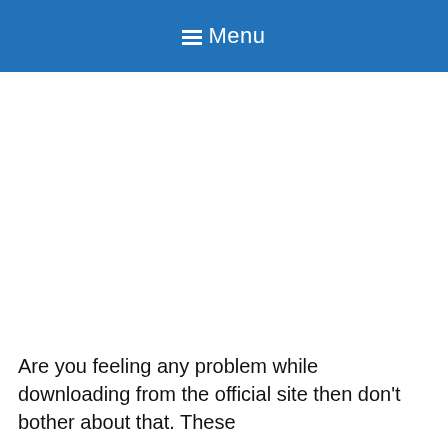☰ Menu
Are you feeling any problem while downloading from the official site then don't bother about that. These